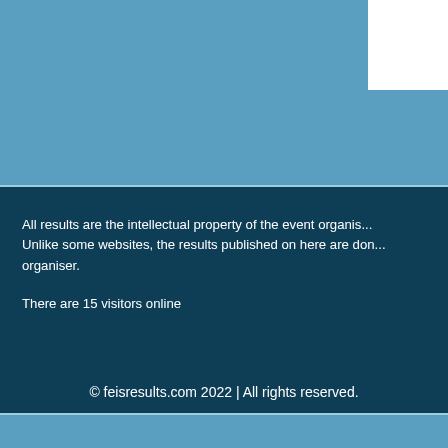All results are the intellectual property of the event organis... Unlike some websites, the results published on here are don... organiser.

There are 15 visitors online
© feisresults.com 2022 | All rights reserved.